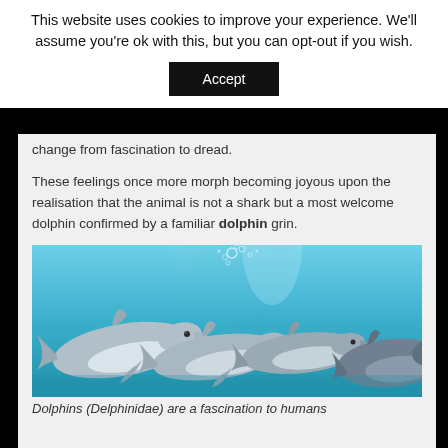This website uses cookies to improve your experience. We'll assume you're ok with this, but you can opt-out if you wish.
Accept
change from fascination to dread.
These feelings once more morph becoming joyous upon the realisation that the animal is not a shark but a most welcome dolphin confirmed by a familiar dolphin grin.
[Figure (photo): Underwater photograph of a group of dolphins swimming together, viewed from front/side angle, with bubbles rising above them against a blue-green background.]
Dolphins (Delphinidae) are a fascination to humans